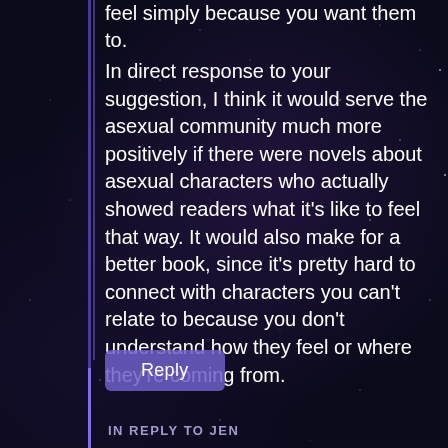feel simply because you want them to.
In direct response to your suggestion, I think it would serve the asexual community much more positively if there were novels about asexual characters who actually showed readers what it's like to feel that way. It would also make for a better book, since it's pretty hard to connect with characters you can't relate to because you don't understand how they feel or where they're coming from.
Reply
IN REPLY TO JEN